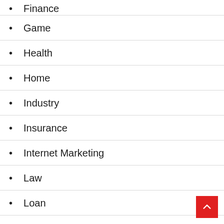Finance
Game
Health
Home
Industry
Insurance
Internet Marketing
Law
Loan
Manufacturer